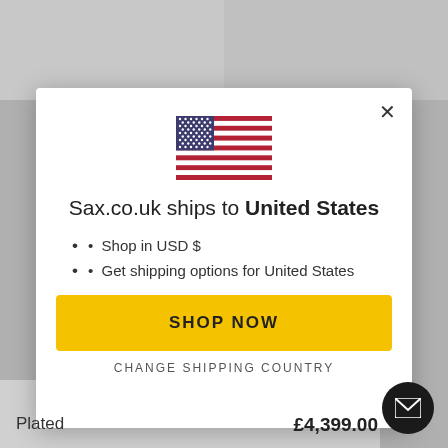[Figure (other): US flag icon in center of modal]
Sax.co.uk ships to United States
Shop in USD $
Get shipping options for United States
SHOP NOW
CHANGE SHIPPING COUNTRY
Plated
£4,399.00